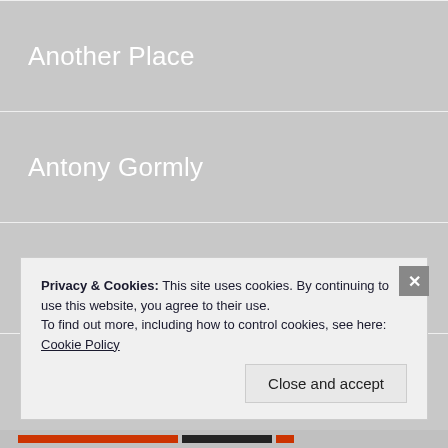Another Place
Antony Gormly
Anxiety
Arabian Nights
Ariana Grande
Aristocracy
Privacy & Cookies: This site uses cookies. By continuing to use this website, you agree to their use. To find out more, including how to control cookies, see here: Cookie Policy
Close and accept